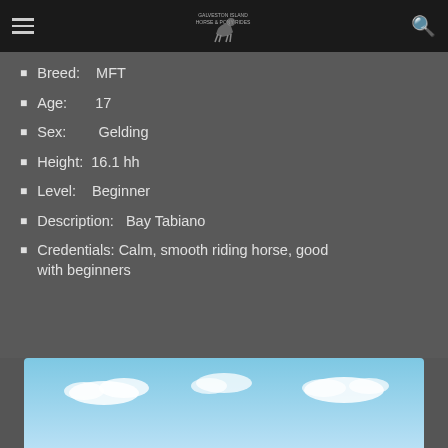Galveston Island Horse & Pony Rides
Breed: MFT
Age: 17
Sex: Gelding
Height: 16.1 hh
Level: Beginner
Description: Bay Tabiano
Credentials: Calm, smooth riding horse, good with beginners
[Figure (photo): Sky with clouds at bottom of page]